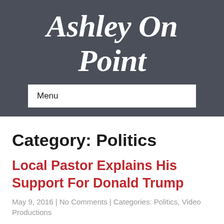Ashley On Point
Menu
Category: Politics
Local Pastor Explains His Support For Donald Trump
May 9, 2016 | No Comments | Categories: Politics, Video Productions
Dr. Steve Parsons, a local pastor out of